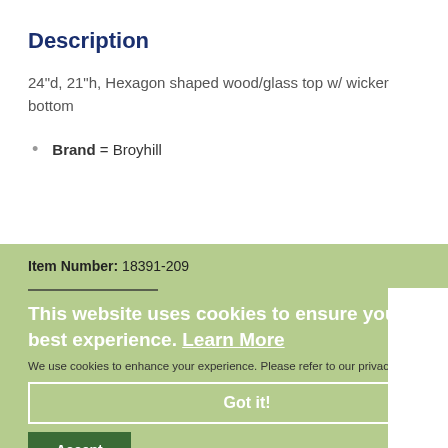Description
24"d, 21"h, Hexagon shaped wood/glass top w/ wicker bottom
Brand = Broyhill
Item Number: 18391-209
This website uses cookies to ensure you get the best experience. Learn More
We use cookies to enhance your experience. Please refer to our privacy policy here.
Got it!
Accept